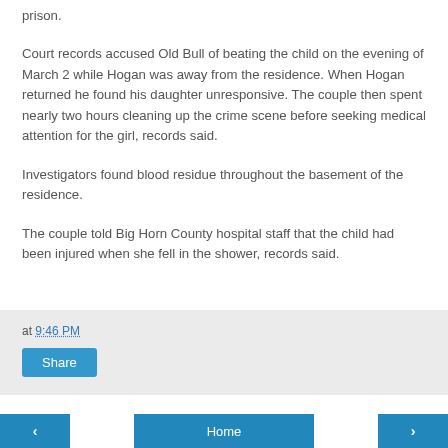prison.
Court records accused Old Bull of beating the child on the evening of March 2 while Hogan was away from the residence. When Hogan returned he found his daughter unresponsive. The couple then spent nearly two hours cleaning up the crime scene before seeking medical attention for the girl, records said.
Investigators found blood residue throughout the basement of the residence.
The couple told Big Horn County hospital staff that the child had been injured when she fell in the shower, records said.
at 9:46 PM
Share
Home